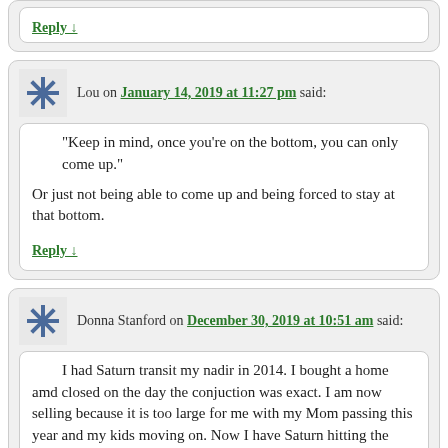Reply ↓
Lou on January 14, 2019 at 11:27 pm said:
“Keep in mind, once you’re on the bottom, you can only come up.”

Or just not being able to come up and being forced to stay at that bottom.
Reply ↓
Donna Stanford on December 30, 2019 at 10:51 am said:
I had Saturn transit my nadir in 2014. I bought a home amd closed on the day the conjuction was exact. I am now selling because it is too large for me with my Mom passing this year and my kids moving on. Now I have Saturn hitting the fourth in my solar chart along with Pluto and the home I need to sell needs lots of work. I hope I can get everything fixed and sold SOON. Pluto and Saturn SCARE ME. I have read Pluto transiting the 4th can prevent sale of home. But I am hopeful that may only apply to the Natal chart 4th. Booooo I am afraid I am sunk :?